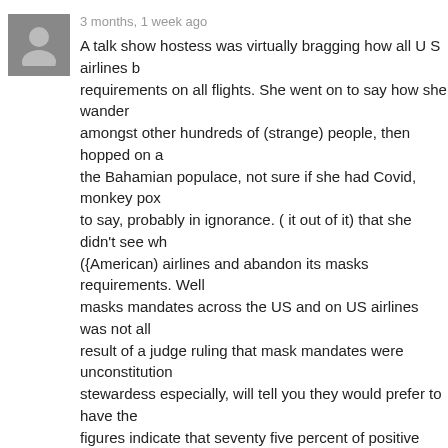[Figure (illustration): Grey avatar icon of a person silhouette]
3 months, 1 week ago
A talk show hostess was virtually bragging how all U S airlines b... requirements on all flights. She went on to say how she wander... amongst other hundreds of (strange) people, then hopped on a... the Bahamian populace, not sure if she had Covid, monkey pox... to say, probably in ignorance. ( it out of it) that she didn't see wh... ({American) airlines and abandon its masks requirements. Well... masks mandates across the US and on US airlines was not all... result of a judge ruling that mask mandates were unconstitution... stewardess especially, will tell you they would prefer to have the... figures indicate that seventy five percent of positive Covid tests... travelled internationally and for most of them, the US was their... iota of common sense could be calling for more relaxing of Cov... numbers speak for themselves? And this week especially, wher... Islands are up and some islands are seeing new cases for the f...
Sign in to suggest removal
[Figure (illustration): Grey avatar icon of a person silhouette (smaller)]
3 months, 1 week ago
Who with an iota of common sense would now believe fo... majority of available and affordable masks offer any prote...